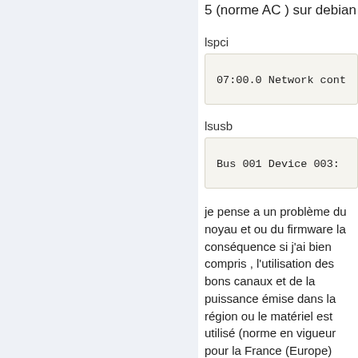5 (norme AC ) sur debian
lspci
07:00.0 Network cont
lsusb
Bus 001 Device 003:
je pense a un problème du noyau et ou du firmware la conséquence si j'ai bien compris , l'utilisation des bons canaux et de la puissance émise dans la région ou le matériel est utilisé (norme en vigueur pour la France (Europe) dans